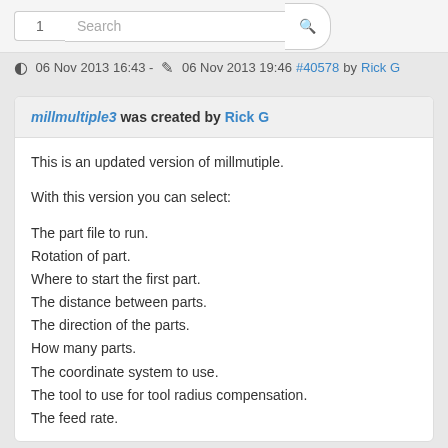Search bar with number 1
06 Nov 2013 16:43 - 06 Nov 2013 19:46 #40578 by Rick G
millmultiple3 was created by Rick G
This is an updated version of millmutiple.
With this version you can select:
The part file to run.
Rotation of part.
Where to start the first part.
The distance between parts.
The direction of the parts.
How many parts.
The coordinate system to use.
The tool to use for tool radius compensation.
The feed rate.
Requires check_cord3.ngc and M110.